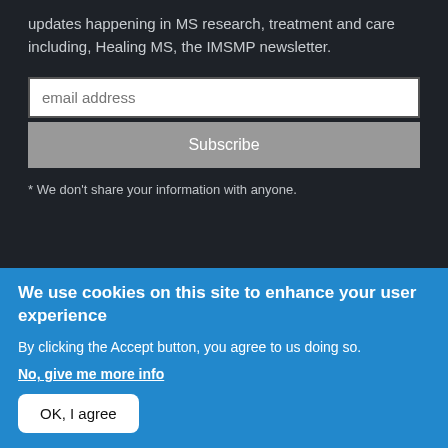updates happening in MS research, treatment and care including, Healing MS, the IMSMP newsletter.
email address
Subscribe
* We don't share your information with anyone.
We use cookies on this site to enhance your user experience
By clicking the Accept button, you agree to us doing so.
No, give me more info
OK, I agree